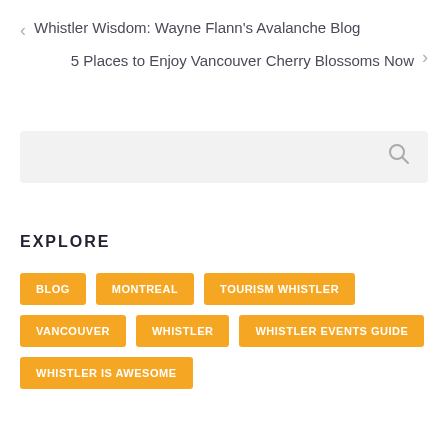< Whistler Wisdom: Wayne Flann's Avalanche Blog
5 Places to Enjoy Vancouver Cherry Blossoms Now >
[Figure (other): Search input box with magnifying glass icon]
EXPLORE
BLOG
MONTREAL
TOURISM WHISTLER
VANCOUVER
WHISTLER
WHISTLER EVENTS GUIDE
WHISTLER IS AWESOME